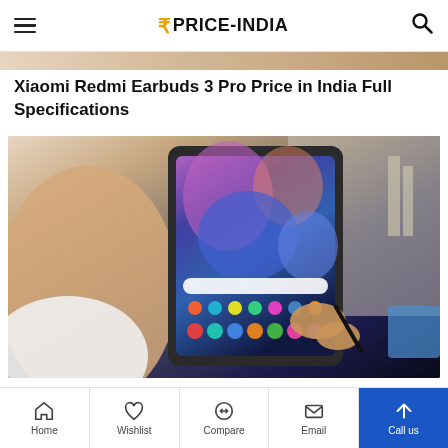≡ ₹PRICE-INDIA 🔍
[Figure (photo): Partial banner/header image strip visible at top of content area]
Xiaomi Redmi Earbuds 3 Pro Price in India Full Specifications
[Figure (photo): Person holding a Samsung Galaxy tablet with S Pen, showing the Android homescreen with colorful app icons and a blue abstract wallpaper, set in a home/kitchen environment]
Home  Wishlist  Compare  Email  Call us